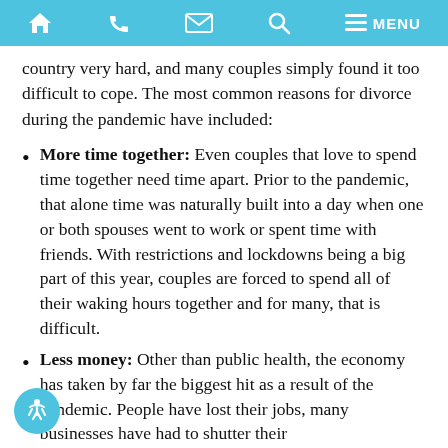MENU navigation bar with home, phone, mail, search, menu icons
country very hard, and many couples simply found it too difficult to cope. The most common reasons for divorce during the pandemic have included:
More time together: Even couples that love to spend time together need time apart. Prior to the pandemic, that alone time was naturally built into a day when one or both spouses went to work or spent time with friends. With restrictions and lockdowns being a big part of this year, couples are forced to spend all of their waking hours together and for many, that is difficult.
Less money: Other than public health, the economy has taken by far the biggest hit as a result of the pandemic. People have lost their jobs, many businesses have had to shutter their